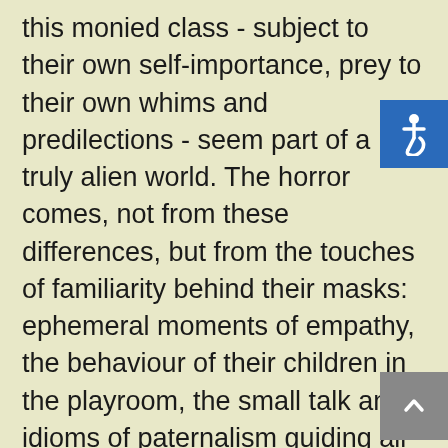this monied class - subject to their own self-importance, prey to their own whims and predilections - seem part of a truly alien world. The horror comes, not from these differences, but from the touches of familiarity behind their masks: ephemeral moments of empathy, the behaviour of their children in the playroom, the small talk and idioms of paternalism guiding all with a broad smile and a firm hand. These are people, definitively, but they are not like us and we are entirely disposable as far as they are concerned.